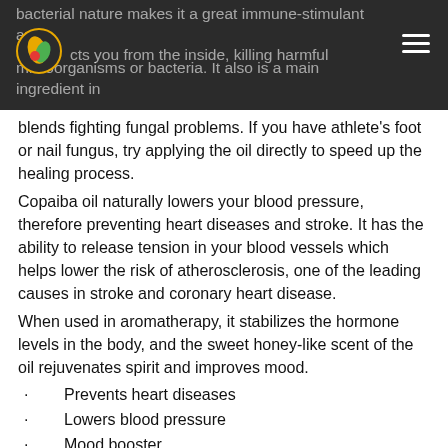bacterial nature makes it a great immune-stimulant and protects you from the inside, killing harmful microorganisms or bacteria. It also is a main ingredient in blends fighting fungal problems. If you have athlete's foot or nail fungus, try applying the oil directly to speed up the healing process.
blends fighting fungal problems. If you have athlete's foot or nail fungus, try applying the oil directly to speed up the healing process.
Copaiba oil naturally lowers your blood pressure, therefore preventing heart diseases and stroke. It has the ability to release tension in your blood vessels which helps lower the risk of atherosclerosis, one of the leading causes in stroke and coronary heart disease.
When used in aromatherapy, it stabilizes the hormone levels in the body, and the sweet honey-like scent of the oil rejuvenates spirit and improves mood.
Prevents heart diseases
Lowers blood pressure
Mood booster
Aids respiratory and inflammation problems
Great for anti-wrinkle treatment, eliminates scars,